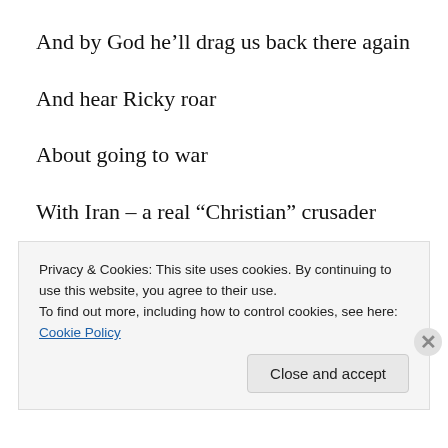And by God he'll drag us back there again
And hear Ricky roar
About going to war
With Iran – a real “Christian” crusader
This sweater clad nit
This delusional git
Privacy & Cookies: This site uses cookies. By continuing to use this website, you agree to their use.
To find out more, including how to control cookies, see here: Cookie Policy
Close and accept